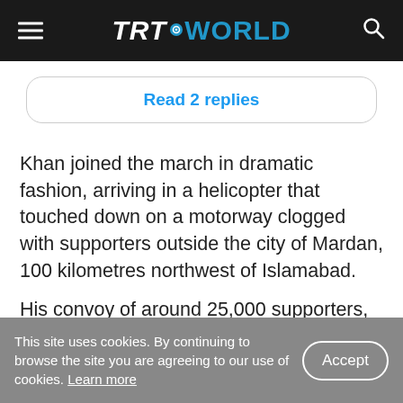TRT WORLD
[Figure (screenshot): Tweet card with 'Read 2 replies' link in a rounded rectangle button]
Khan joined the march in dramatic fashion, arriving in a helicopter that touched down on a motorway clogged with supporters outside the city of Mardan, 100 kilometres northwest of Islamabad.
His convoy of around 25,000 supporters, which started in his powerbase of Khyber Pakhtunkhwa province, inched along the motorway before
This site uses cookies. By continuing to browse the site you are agreeing to our use of cookies. Learn more